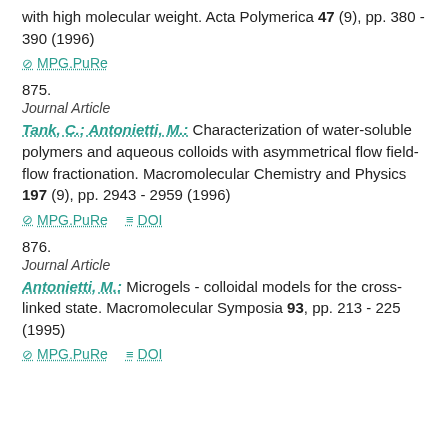with high molecular weight. Acta Polymerica 47 (9), pp. 380 - 390 (1996)
⊘ MPG.PuRe
875.
Journal Article
Tank, C.; Antonietti, M.: Characterization of water-soluble polymers and aqueous colloids with asymmetrical flow field-flow fractionation. Macromolecular Chemistry and Physics 197 (9), pp. 2943 - 2959 (1996)
⊘ MPG.PuRe   ≡ DOI
876.
Journal Article
Antonietti, M.: Microgels - colloidal models for the cross-linked state. Macromolecular Symposia 93, pp. 213 - 225 (1995)
⊘ MPG.PuRe   ≡ DOI